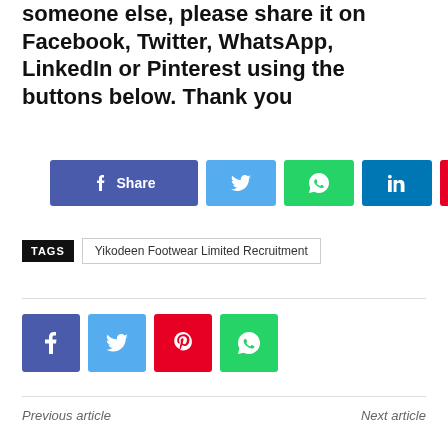someone else, please share it on Facebook, Twitter, WhatsApp, LinkedIn or Pinterest using the buttons below. Thank you
[Figure (other): Social share buttons row: Facebook Share button (blue/indigo), Twitter button (light blue), WhatsApp button (green), LinkedIn button (blue), Pinterest button (red)]
TAGS  Yikodeen Footwear Limited Recruitment
[Figure (other): Social icon buttons row: Facebook (indigo), Twitter (light blue), Pinterest (red), WhatsApp (green)]
Previous article   Next article